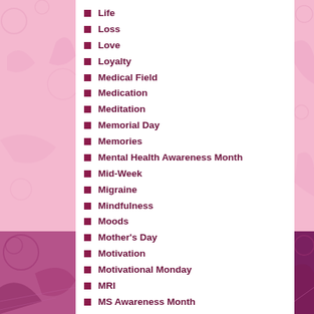Life
Loss
Love
Loyalty
Medical Field
Medication
Meditation
Memorial Day
Memories
Mental Health Awareness Month
Mid-Week
Migraine
Mindfulness
Moods
Mother's Day
Motivation
Motivational Monday
MRI
MS Awareness Month
MS Hug
Multiple Sclerosis